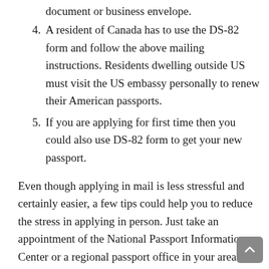document or business envelope.
4. A resident of Canada has to use the DS-82 form and follow the above mailing instructions. Residents dwelling outside US must visit the US embassy personally to renew their American passports.
5. If you are applying for first time then you could also use DS-82 form to get your new passport.
Even though applying in mail is less stressful and certainly easier, a few tips could help you to reduce the stress in applying in person. Just take an appointment of the National Passport Information Center or a regional passport office in your area and apply in person: